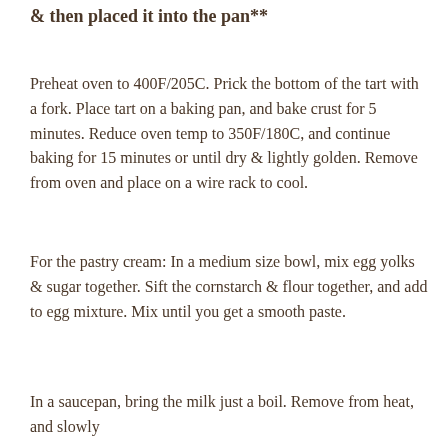& then placed it into the pan**
Preheat oven to 400F/205C. Prick the bottom of the tart with a fork. Place tart on a baking pan, and bake crust for 5 minutes. Reduce oven temp to 350F/180C, and continue baking for 15 minutes or until dry & lightly golden. Remove from oven and place on a wire rack to cool.
For the pastry cream: In a medium size bowl, mix egg yolks & sugar together. Sift the cornstarch & flour together, and add to egg mixture. Mix until you get a smooth paste.
In a saucepan, bring the milk just a boil. Remove from heat, and slowly